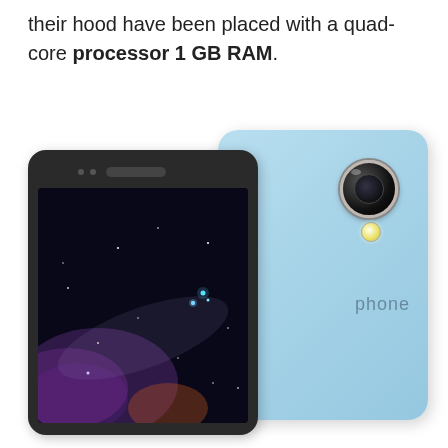their hood have been placed with a quad-core processor 1 GB RAM.
[Figure (photo): A smartphone shown from two angles: the front face showing a dark screen with a galaxy/starfield wallpaper and sensors at the top, and the back showing a light blue body with a circular camera lens and flash LED. The word 'phone' is partially visible on the back.]